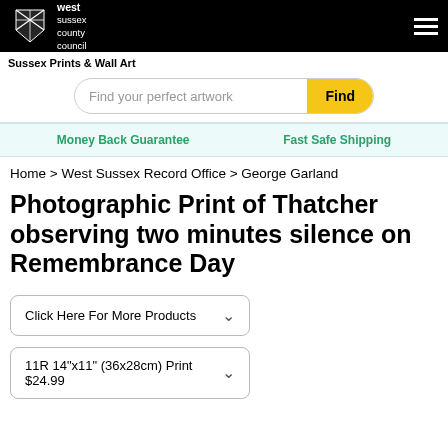[Figure (logo): West Sussex County Council logo — black background with shield emblem and white text reading 'west sussex county council']
Sussex Prints & Wall Art
Find your perfect artwork
Money Back Guarantee   Fast Safe Shipping
Home > West Sussex Record Office > George Garland
Photographic Print of Thatcher observing two minutes silence on Remembrance Day
Click Here For More Products
11R 14"x11" (36x28cm) Print $24.99